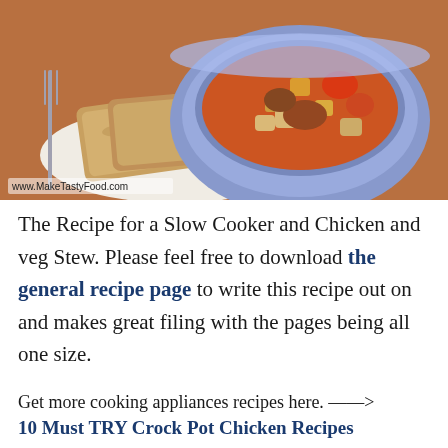[Figure (photo): A blue bowl filled with slow cooker chicken and vegetable stew, with sliced bread on a white plate beside it and a fork visible on the left, on a wooden surface. Watermark reads www.MakeTastyFood.com]
The Recipe for a Slow Cooker and Chicken and veg Stew. Please feel free to download the general recipe page to write this recipe out on and makes great filing with the pages being all one size.
Get more cooking appliances recipes here. —-> 10 Must TRY Crock Pot Chicken Recipes